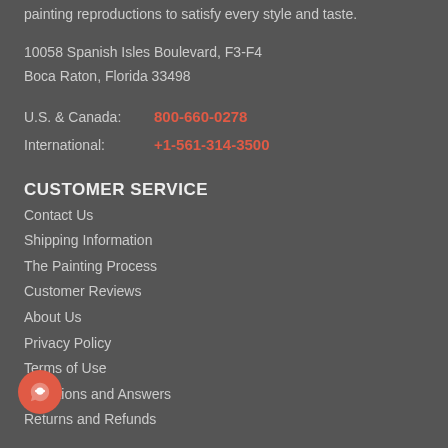painting reproductions to satisfy every style and taste.
10058 Spanish Isles Boulevard, F3-F4
Boca Raton, Florida 33498
U.S. & Canada: 800-660-0278
International: +1-561-314-3500
CUSTOMER SERVICE
Contact Us
Shipping Information
The Painting Process
Customer Reviews
About Us
Privacy Policy
Terms of Use
Questions and Answers
Returns and Refunds
SHOP BY
Best Sellers
Categories